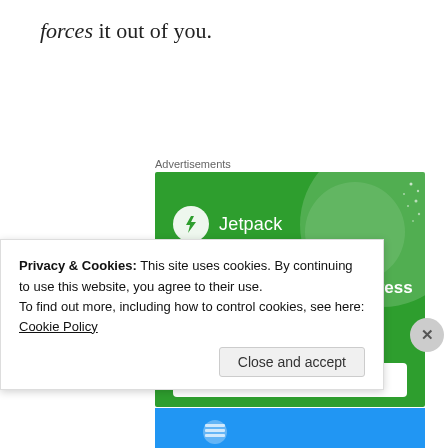forces it out of you.
Advertisements
[Figure (illustration): Jetpack WordPress backup plugin advertisement. Green background with large translucent circle, Jetpack logo (lightning bolt in white circle) and text 'The best real-time WordPress backup plugin' with a 'Back up your site' button.]
Privacy & Cookies: This site uses cookies. By continuing to use this website, you agree to their use. To find out more, including how to control cookies, see here: Cookie Policy
Close and accept